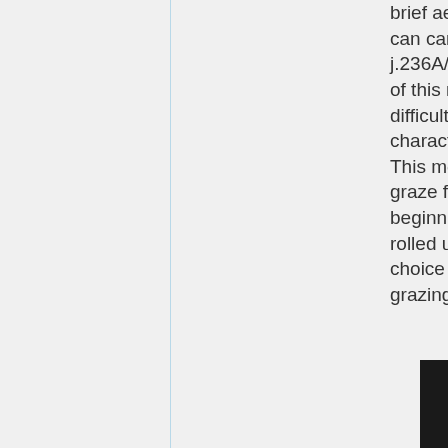brief aerial time she can cancel into j.236A/B. The recovery of this move can be difficult for some characters to punish. This move has no graze frames at the beginning until Suika's rolled up, so it's a poor choice for reactionary grazing.
[Figure (photo): Dark screenshot from a game, partially visible at the bottom right of the page]